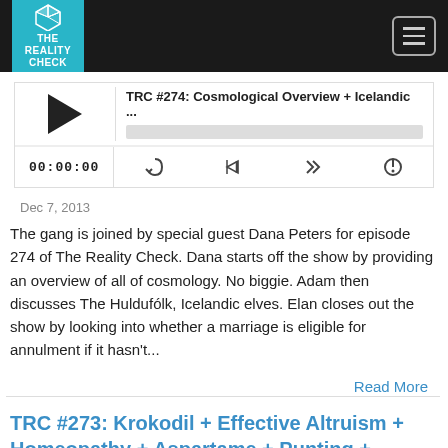The Reality Check
[Figure (screenshot): Podcast audio player showing episode TRC #274: Cosmological Overview + Icelandic ... with play button, progress bar, time display 00:00:00 and controls]
Dec 7, 2013
The gang is joined by special guest Dana Peters for episode 274 of The Reality Check. Dana starts off the show by providing an overview of all of cosmology. No biggie. Adam then discusses The Huldufólk, Icelandic elves. Elan closes out the show by looking into whether a marriage is eligible for annulment if it hasn't...
Read More
TRC #273: Krokodil + Effective Altruism + Homeopathy + Aspartame + Punting + Friends